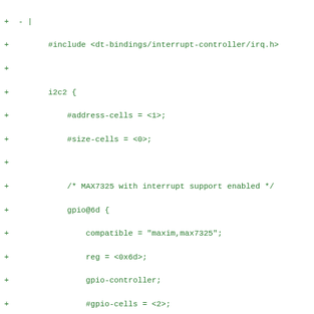Diff/code listing showing device tree bindings for i2c2 and i2c3 with MAX7325 GPIO expander configurations including interrupt support enabled and disabled.